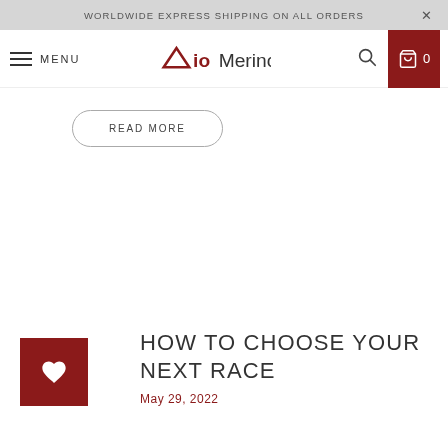WORLDWIDE EXPRESS SHIPPING ON ALL ORDERS
MENU — AioMerino logo — search — cart 0
READ MORE
HOW TO CHOOSE YOUR NEXT RACE
May 29, 2022